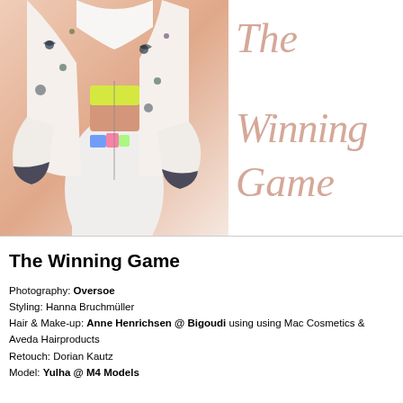[Figure (photo): Fashion editorial photo of a model wearing a white floral-print athletic jacket over a yellow/neon sports bra and white leggings, posed against a blush/salmon pink background. The model's face is cropped out. The jacket has dark floral/bird prints and dark cuffs.]
The Winning Game
The Winning Game
Photography: Oversoe
Styling: Hanna Bruchmüller
Hair & Make-up: Anne Henrichsen @ Bigoudi using using Mac Cosmetics & Aveda Hairproducts
Retouch: Dorian Kautz
Model: Yulha @ M4 Models